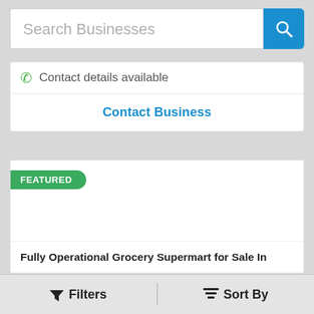Search Businesses
Contact details available
Contact Business
FEATURED
Fully Operational Grocery Supermart for Sale In
Filters
Sort By